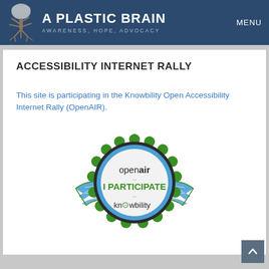A PLASTIC BRAIN — AWARENESS, HOPE, ADVOCACY — MENU
ACCESSIBILITY INTERNET RALLY
This site is participating in the Knowbility Open Accessibility Internet Rally (OpenAIR).
[Figure (logo): OpenAIR I PARTICIPATE Knowbility badge — circular badge with green scalloped border and blue wings, text reads 'openair ... I PARTICIPATE ... knowbility']